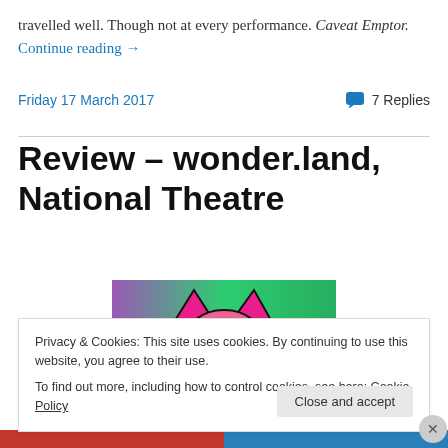travelled well. Though not at every performance. Caveat Emptor. Continue reading →
Friday 17 March 2017  ·  7 Replies
Review – wonder.land, National Theatre
[Figure (illustration): Colourful banner image with purple and green gradient background and a pink cat-like face/ears silhouette in the centre]
Privacy & Cookies: This site uses cookies. By continuing to use this website, you agree to their use.
To find out more, including how to control cookies, see here: Cookie Policy
Close and accept
Advertisements